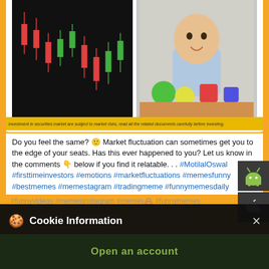[Figure (screenshot): Screenshot of a financial social media post showing a stock candlestick chart on the left and a baby playing with colorful toys on the right, with a yellow disclaimer bar below.]
Do you feel the same? 🙂 Market fluctuation can sometimes get you to the edge of your seats. Has this ever happened to you? Let us know in the comments 👇 below if you find it relatable. . . #MotilalOswal #firsttimeinvestors #emotions #marketfluctuations #memesfunny #bestmemes #memestagram #tradingmeme #funnymemesdaily #funnyvideos #memesinstagram #memes🙈 #funnymemes #sharemarket #sharemarketmeme #investingmeme #stockmarketmeme
Cookie Information
On our website, we use services (including from third-party providers) that help us to improve our online presence (optimization of website) and to display content that is geared to their interests. We need your consent before being able to use these services.
I ACCEPT
Open an account